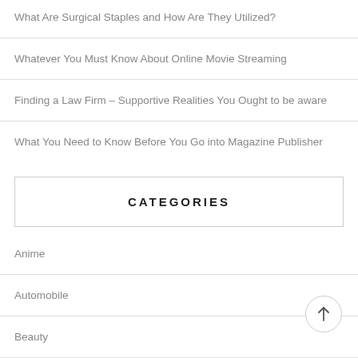What Are Surgical Staples and How Are They Utilized?
Whatever You Must Know About Online Movie Streaming
Finding a Law Firm – Supportive Realities You Ought to be aware
What You Need to Know Before You Go into Magazine Publisher
CATEGORIES
Anime
Automobile
Beauty